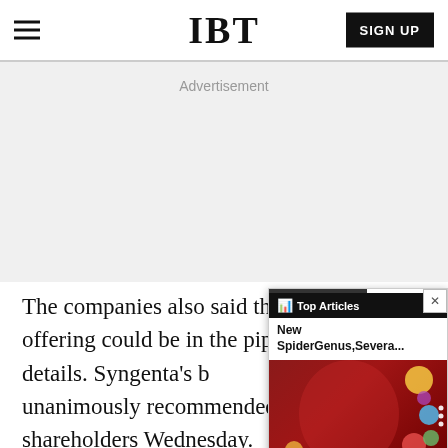IBT | SIGN UP
Advertisement
The companies also said that a new offering could be in the pipeline, without further details. Syngenta's board reviewed and unanimously recommended it to shareholders Wednesday.
[Figure (screenshot): Popup overlay showing 'Top Articles' header with 'New SpiderGenus,Severa...' article text and a colorful artistic photo in the background]